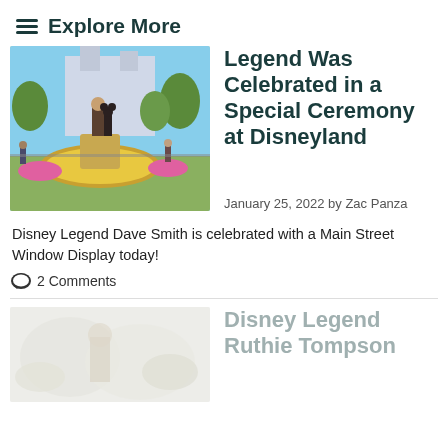≡ Explore More
[Figure (photo): Photo of Disneyland castle area with Walt Disney and Mickey Mouse statue surrounded by colorful flowers and park visitors]
Legend Was Celebrated in a Special Ceremony at Disneyland
January 25, 2022 by Zac Panza
Disney Legend Dave Smith is celebrated with a Main Street Window Display today!
💬 2 Comments
[Figure (photo): Partially visible photo, faded/low opacity, showing a person among flowers or a garden setting]
Disney Legend Ruthie Tompson